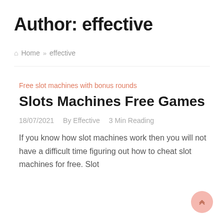Author: effective
🏠 Home » effective
Free slot machines with bonus rounds
Slots Machines Free Games
18/07/2021   By Effective   3 Min Reading
If you know how slot machines work then you will not have a difficult time figuring out how to cheat slot machines for free. Slot